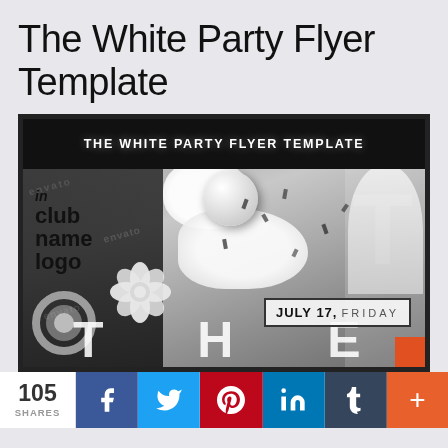The White Party Flyer Template
[Figure (illustration): A white party event flyer template preview showing a dark-bordered flyer with white 3D decorative elements, confetti, a globe sphere, white flowers, club name logo placeholder, date 'JULY 17, FRIDAY' in a box, and large letters 'THE' at bottom. Bold white text header reads 'THE WHITE PARTY FLYER TEMPLATE'. Watermarks visible across the image.]
105 SHARES
f
t
p
in
t
+